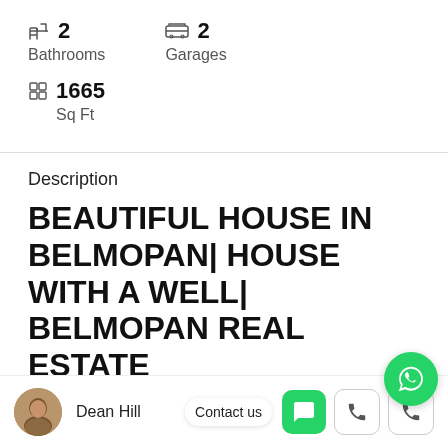2 Bathrooms
2 Garages
1665 Sq Ft
Description
BEAUTIFUL HOUSE IN BELMOPAN| HOUSE WITH A WELL| BELMOPAN REAL ESTATE
Dean Hill
Contact us